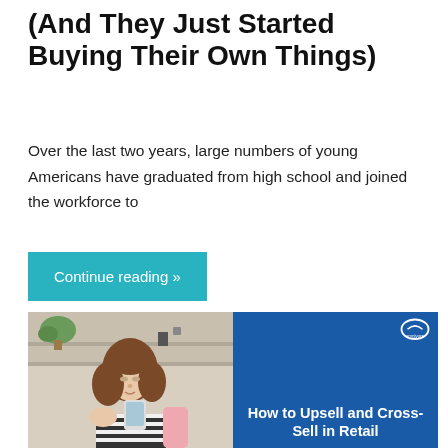(And They Just Started Buying Their Own Things)
Over the last two years, large numbers of young Americans have graduated from high school and joined the workforce to
Continue reading »
[Figure (photo): Left half shows a photo of a young woman with curly brown hair looking at her phone in a domestic/retail setting. Right half has a blue background with white bold text reading 'How to Upsell and Cross-Sell in Retail' and a small logo in the top right corner.]